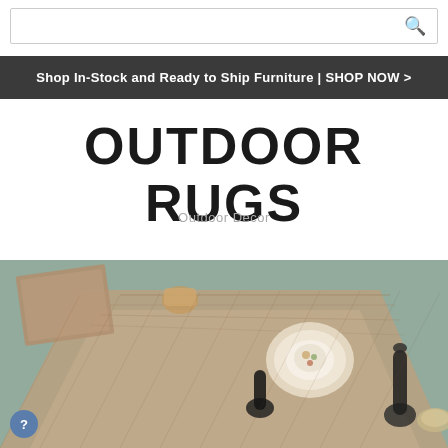Search bar with search icon
Shop In-Stock and Ready to Ship Furniture | SHOP NOW >
OUTDOOR RUGS
Outdoor Decor
[Figure (photo): Photo of outdoor rugs on a patio table setting with plates and decorative items on top of woven/textured rug material in earthy tones on a teal-grey background.]